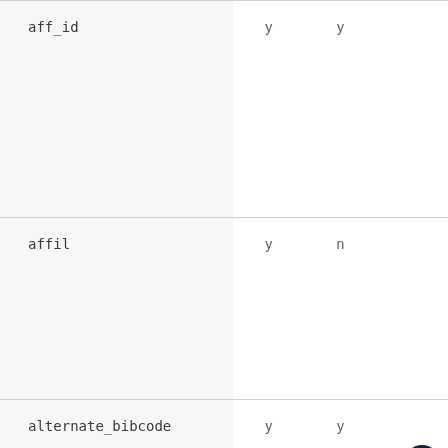| aff_id | y | y |  |
| affil | y | n |  |
| alternate_bibcode | y | y |  |